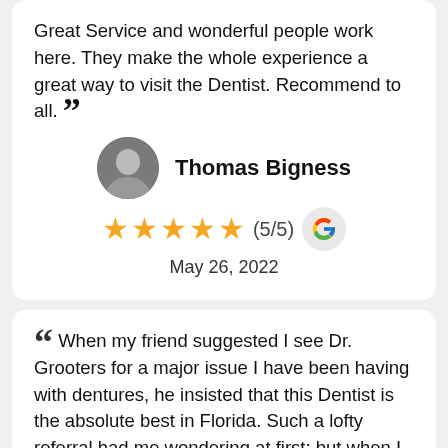Great Service and wonderful people work here. They make the whole experience a great way to visit the Dentist. Recommend to all. ””
Thomas Bigness
★★★★★ (5/5)
May 26, 2022
““ When my friend suggested I see Dr. Grooters for a major issue I have been having with dentures, he insisted that this Dentist is the absolute best in Florida. Such a lofty referral had me wondering at first; but when I met the doctor for my initial visit I fully understood why so many people feel the same way that my friend does. I have now joined that group of happy patients in agreeing that this dentist is the “best” I’ve ever